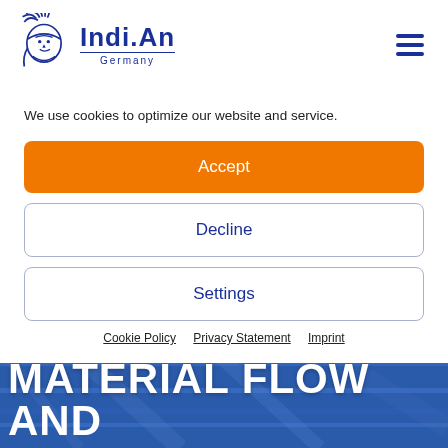[Figure (logo): Indi.An Germany logo with Native American chief head in blue, company name 'Indi.An' in bold blue text with 'Germany' subtitle]
We use cookies to optimize our website and service.
Accept
Decline
Settings
Cookie Policy   Privacy Statement   Imprint
MATERIAL FLOW AND